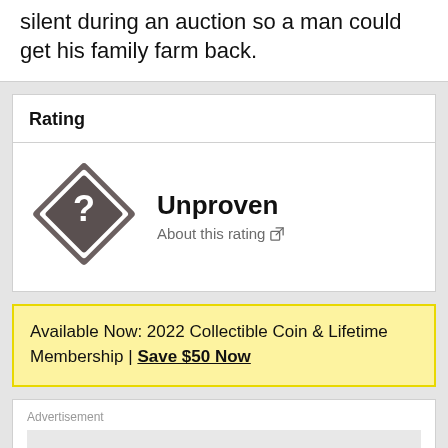silent during an auction so a man could get his family farm back.
Rating
[Figure (illustration): Diamond-shaped icon with a question mark inside, representing an 'Unproven' rating]
Unproven
About this rating
Available Now: 2022 Collectible Coin & Lifetime Membership | Save $50 Now
Advertisement